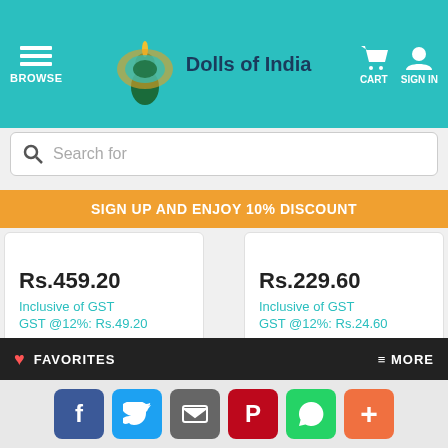Dolls of India — BROWSE | CART | SIGN IN
Search for
SIGN UP AND ENJOY 10% DISCOUNT
Rs.459.20
Inclusive of GST
GST @12%: Rs.49.20
Rs.229.60
Inclusive of GST
GST @12%: Rs.24.60
[Figure (photo): Product image - Sai Baba painting with Om symbol on colorful mosaic background]
[Figure (photo): Product image - Sai Baba portrait with floral background]
FAVORITES | MORE